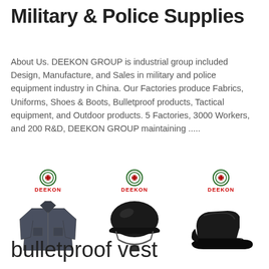Military & Police Supplies
About Us. DEEKON GROUP is industrial group included Design, Manufacture, and Sales in military and police equipment industry in China. Our Factories produce Fabrics, Uniforms, Shoes & Boots, Bulletproof products, Tactical equipment, and Outdoor products. 5 Factories, 3000 Workers, and 200 R&D, DEEKON GROUP maintaining .....
[Figure (photo): Three product images with DEEKON logo: a dark military/police uniform shirt, a black military helmet with chin strap, and a black leather dress shoe.]
bulletproof vest